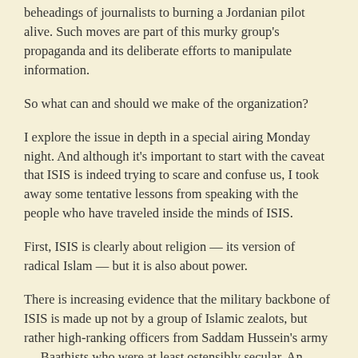beheadings of journalists to burning a Jordanian pilot alive. Such moves are part of this murky group's propaganda and its deliberate efforts to manipulate information.
So what can and should we make of the organization?
I explore the issue in depth in a special airing Monday night. And although it's important to start with the caveat that ISIS is indeed trying to scare and confuse us, I took away some tentative lessons from speaking with the people who have traveled inside the minds of ISIS.
First, ISIS is clearly about religion — its version of radical Islam — but it is also about power.
There is increasing evidence that the military backbone of ISIS is made up not by a group of Islamic zealots, but rather high-ranking officers from Saddam Hussein's army — Baathists who were at least ostensibly secular. An internal ISIS report detailing its organizational structure was reported on last week in the German weekly Der Spiegel.
That report describes a group that uses its religious ideology as a recruiting and governing philosophy, much like communism. But underneath it, much like